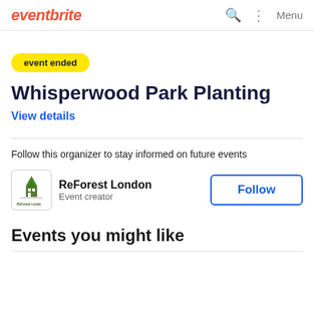eventbrite — Menu
event ended
Whisperwood Park Planting
View details
Follow this organizer to stay informed on future events
ReForest London
Event creator
Follow
Events you might like